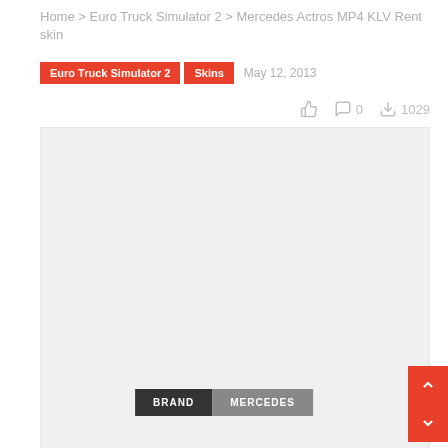Home > Euro Truck Simulator 2 > Mercedes Actros MP4 KLV Rent skin
Euro Truck Simulator 2  Skins  May 12, 2013
0  1029
[Figure (photo): Light gray placeholder image for Mercedes Actros MP4 KLV Rent skin preview]
BRAND  MERCEDES